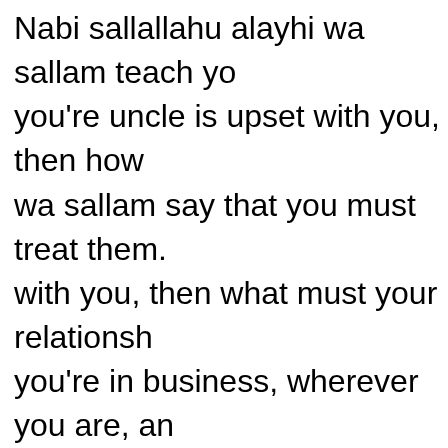Nabi sallallahu alayhi wa sallam teach you're uncle is upset with you, then how wa sallam say that you must treat them. with you, then what must your relationship you're in business, wherever you are, an at the forefront. What method did Nabi sa prescribe to run a business? What do we or profit in this world or the Hereafter? W and profit of the hereafter. SubhaanAllah us that if we leave the Sunnah, then you £2000. And if we adopt the sunnah, them "No way. Do we want to die? I can't live w the children, I need to give tax, I need to such and such." We present all our storie بشيء من الخوف والجوع ونقص من الأموال tests in one's life. sometimes you are sic